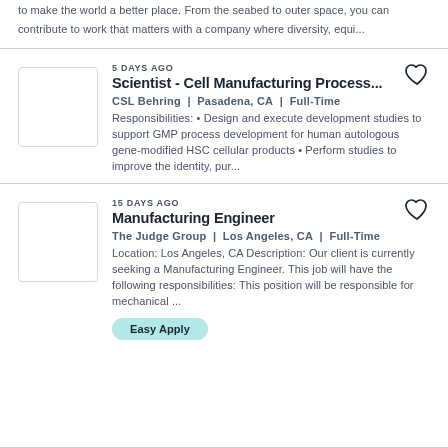to make the world a better place. From the seabed to outer space, you can contribute to work that matters with a company where diversity, equi...
5 DAYS AGO
Scientist - Cell Manufacturing Process...
CSL Behring | Pasadena, CA | Full-Time
Responsibilities: • Design and execute development studies to support GMP process development for human autologous gene-modified HSC cellular products • Perform studies to improve the identity, pur...
15 DAYS AGO
Manufacturing Engineer
The Judge Group | Los Angeles, CA | Full-Time
Location: Los Angeles, CA Description: Our client is currently seeking a Manufacturing Engineer. This job will have the following responsibilities: This position will be responsible for mechanical ...
Easy Apply